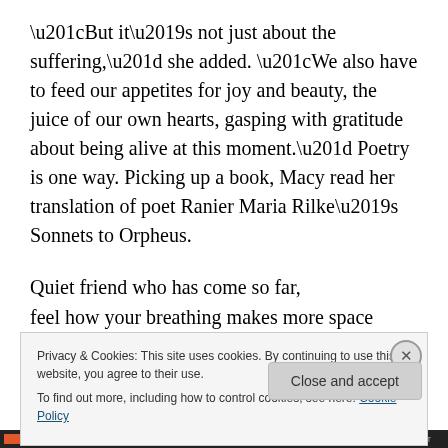“But it’s not just about the suffering,” she added. “We also have to feed our appetites for joy and beauty, the juice of our own hearts, gasping with gratitude about being alive at this moment.” Poetry is one way. Picking up a book, Macy read her translation of poet Ranier Maria Rilke’s Sonnets to Orpheus.
Quiet friend who has come so far,
feel how your breathing makes more space around you.
Let this darkness be a bell tower
and you the bell. As you ring,
[Figure (screenshot): Cookie consent banner overlay with text: 'Privacy & Cookies: This site uses cookies. By continuing to use this website, you agree to their use. To find out more, including how to control cookies, see here: Cookie Policy' and a 'Close and accept' button.]
Progress bar at bottom of page